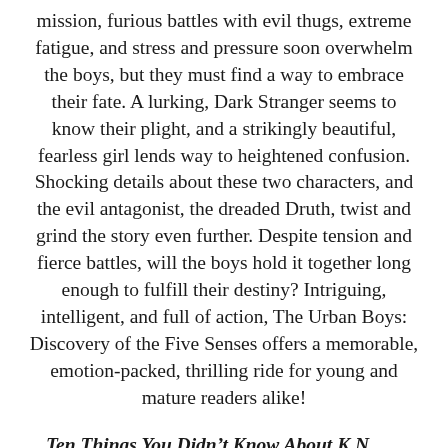mission, furious battles with evil thugs, extreme fatigue, and stress and pressure soon overwhelm the boys, but they must find a way to embrace their fate. A lurking, Dark Stranger seems to know their plight, and a strikingly beautiful, fearless girl lends way to heightened confusion. Shocking details about these two characters, and the evil antagonist, the dreaded Druth, twist and grind the story even further. Despite tension and fierce battles, will the boys hold it together long enough to fulfill their destiny? Intriguing, intelligent, and full of action, The Urban Boys: Discovery of the Five Senses offers a memorable, emotion-packed, thrilling ride for young and mature readers alike!
Ten Things You Didn't Know About K.N. Smith
She's an avid home gardener. Remember